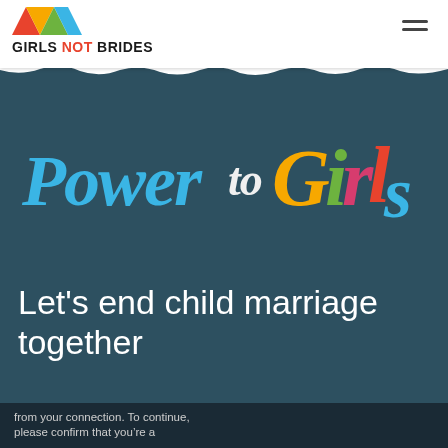GIRLS NOT BRIDES
[Figure (logo): Power to Girls colorful hand-lettered logo on dark teal background]
Let's end child marriage together
from your connection. To continue, please confirm that you’re a